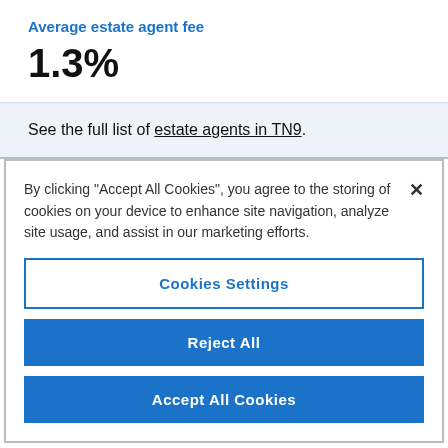Average estate agent fee
1.3%
See the full list of estate agents in TN9.
By clicking "Accept All Cookies", you agree to the storing of cookies on your device to enhance site navigation, analyze site usage, and assist in our marketing efforts.
Cookies Settings
Reject All
Accept All Cookies